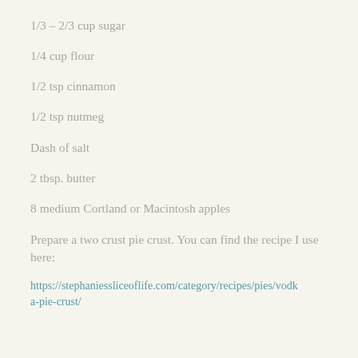1/3 – 2/3 cup sugar
1/4 cup flour
1/2 tsp cinnamon
1/2 tsp nutmeg
Dash of salt
2 tbsp. butter
8 medium Cortland or Macintosh apples
Prepare a two crust pie crust. You can find the recipe I use here:
https://stephaniessliceoflife.com/category/recipes/pies/vodka-pie-crust/